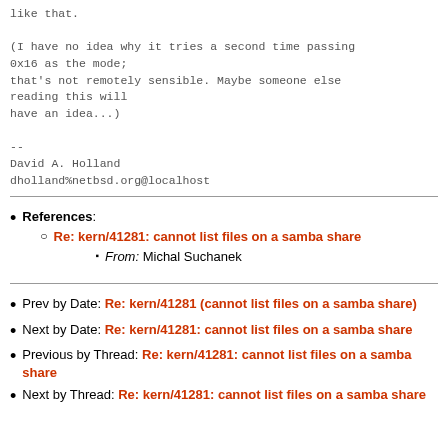like that.

(I have no idea why it tries a second time passing 0x16 as the mode;
that's not remotely sensible. Maybe someone else reading this will
have an idea...)

--
David A. Holland
dholland%netbsd.org@localhost
References: Re: kern/41281: cannot list files on a samba share — From: Michal Suchanek
Prev by Date: Re: kern/41281 (cannot list files on a samba share)
Next by Date: Re: kern/41281: cannot list files on a samba share
Previous by Thread: Re: kern/41281: cannot list files on a samba share
Next by Thread: Re: kern/41281: cannot list files on a samba share